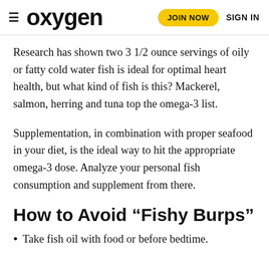oxygen  JOIN NOW  SIGN IN
Research has shown two 3 1/2 ounce servings of oily or fatty cold water fish is ideal for optimal heart health, but what kind of fish is this? Mackerel, salmon, herring and tuna top the omega-3 list.
Supplementation, in combination with proper seafood in your diet, is the ideal way to hit the appropriate omega-3 dose. Analyze your personal fish consumption and supplement from there.
How to Avoid “Fishy Burps”
Take fish oil with food or before bedtime.